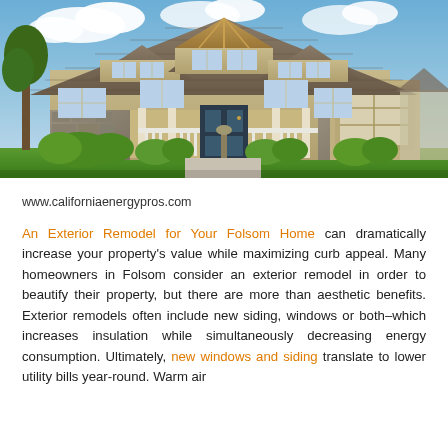[Figure (photo): Exterior photo of a large two-story craftsman-style home with beige siding, stone accents, multiple gabled dormers, white porch railings, manicured green shrubs, and a blue sky with clouds in the background.]
www.californiaenergypros.com
An Exterior Remodel for Your Folsom Home can dramatically increase your property's value while maximizing curb appeal. Many homeowners in Folsom consider an exterior remodel in order to beautify their property, but there are more than aesthetic benefits. Exterior remodels often include new siding, windows or both–which increases insulation while simultaneously decreasing energy consumption. Ultimately, new windows and siding translate to lower utility bills year-round. Warm air